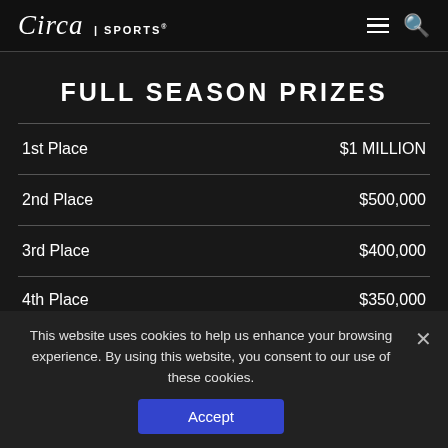Circa Sports
FULL SEASON PRIZES
| Place | Prize |
| --- | --- |
| 1st Place | $1 MILLION |
| 2nd Place | $500,000 |
| 3rd Place | $400,000 |
| 4th Place | $350,000 |
This website uses cookies to help us enhance your browsing experience. By using this website, you consent to our use of these cookies.